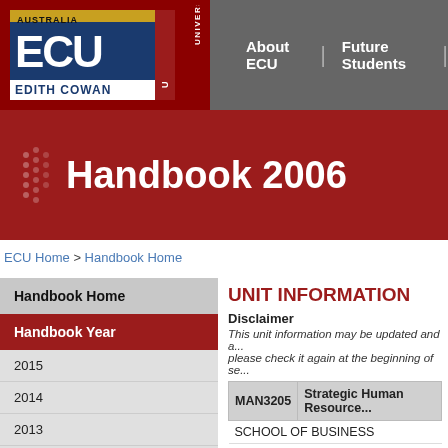ECU — Edith Cowan University | About ECU | Future Students
Handbook 2006
ECU Home > Handbook Home
Handbook Home
Handbook Year
2015
2014
2013
2012
UNIT INFORMATION
Disclaimer
This unit information may be updated and a... please check it again at the beginning of se...
| MAN3205 | Strategic Human Resource... |
| --- | --- |
| SCHOOL OF BUSINESS |  |
| Credit Points: 15 |  |
| Prerequisites: |  |
| MAN2145 | Human Resource Manageme... |